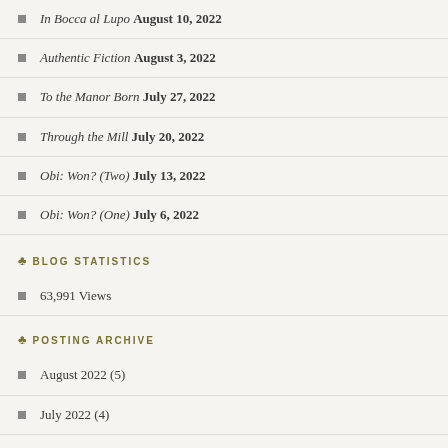In Bocca al Lupo August 10, 2022
Authentic Fiction August 3, 2022
To the Manor Born July 27, 2022
Through the Mill July 20, 2022
Obi:  Won? (Two) July 13, 2022
Obi:  Won? (One) July 6, 2022
BLOG STATISTICS
63,991 Views
POSTING ARCHIVE
August 2022 (5)
July 2022 (4)
June 2022 (5)
May 2022 (4)
April 2022 (4)